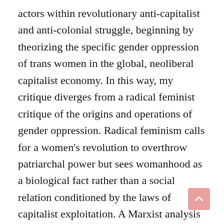actors within revolutionary anti-capitalist and anti-colonial struggle, beginning by theorizing the specific gender oppression of trans women in the global, neoliberal capitalist economy. In this way, my critique diverges from a radical feminist critique of the origins and operations of gender oppression. Radical feminism calls for a women's revolution to overthrow patriarchal power but sees womanhood as a biological fact rather than a social relation conditioned by the laws of capitalist exploitation. A Marxist analysis of womanhood takes into account class exploitation, which rests on gendered labour, as the historical basis for the construction of women as a social group completely dependent on men.
This article is focused on the particular position of trans women within the global working class. It recognizes, but does not elaborate the colonial and